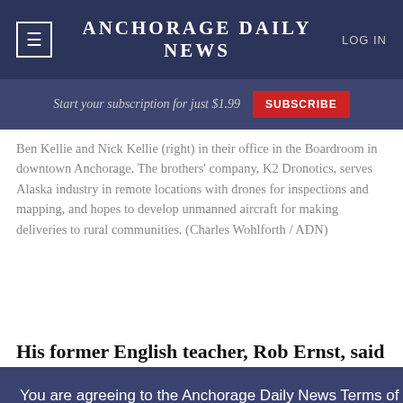≡  ANCHORAGE DAILY NEWS  LOG IN
Start your subscription for just $1.99  SUBSCRIBE
Ben Kellie and Nick Kellie (right) in their office in the Boardroom in downtown Anchorage. The brothers' company, K2 Dronotics, serves Alaska industry in remote locations with drones for inspections and mapping, and hopes to develop unmanned aircraft for making deliveries to rural communities. (Charles Wohlforth / ADN)
His former English teacher, Rob Ernst, said the
You are agreeing to the Anchorage Daily News Terms of Use by continuing to browse this site.
Terms of Use
I Accept